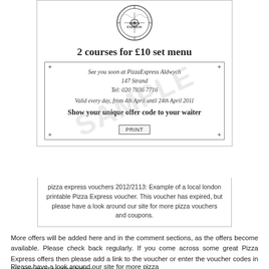[Figure (illustration): PizzaExpress voucher showing '2 courses for £10 set menu' with venue details for PizzaExpress Aldwych, 147 Strand, Tel: 020 7836 7716, valid from 4th April until 24th April 2011, with a SAMPLE watermark overlay and a Print button]
pizza express vouchers 2012/2113: Example of a local london printable Pizza Express voucher. This voucher has expired, but please have a look around our site for more pizza vouchers and coupons.
More offers will be added here and in the comment sections, as the offers become available. Please check back regularly. If you come across some great Pizza Express offers then please add a link to the voucher or enter the voucher codes in the comment section below.
Please have a look around our site for more pizza